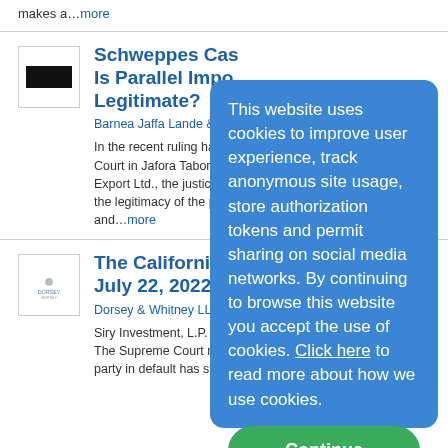makes a…more
[Figure (logo): Schweppes logo – dark background with white text]
Schweppes Case: Is Parallel Import Legitimate?
Barnea Jaffa Lande & Co. o…
In the recent ruling handed d… Court in Jafora Tabori Ltd. v… Export Ltd., the justices deli… the legitimacy of the practic… and…more
[Figure (logo): Dorsey & Whitney LLP logo]
The California S… July 22, 2022
Dorsey & Whitney LLP on 7…
Siry Investment, L.P. v. Fark… The Supreme Court resolved two issues: whether (1) a party in default has standing to file a motion for a new
This website uses cookies to improve user experience, track anonymous site usage, store authorization tokens and permit sharing on social media networks. By continuing to browse this website you accept the use of cookies. Click here to read more about how we use cookies.
Continue